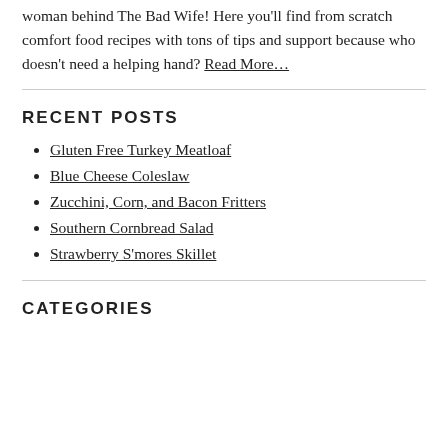woman behind The Bad Wife! Here you'll find from scratch comfort food recipes with tons of tips and support because who doesn't need a helping hand? Read More…
RECENT POSTS
Gluten Free Turkey Meatloaf
Blue Cheese Coleslaw
Zucchini, Corn, and Bacon Fritters
Southern Cornbread Salad
Strawberry S'mores Skillet
CATEGORIES